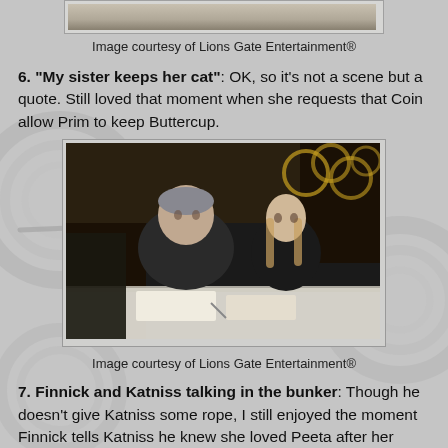[Figure (photo): Top partial image (cropped), courtesy of Lions Gate Entertainment]
Image courtesy of Lions Gate Entertainment®
6. "My sister keeps her cat": OK, so it's not a scene but a quote. Still loved that moment when she requests that Coin allow Prim to keep Buttercup.
[Figure (photo): Two people sitting at a table in a dark room, from Lions Gate Entertainment]
Image courtesy of Lions Gate Entertainment®
7. Finnick and Katniss talking in the bunker: Though he doesn't give Katniss some rope, I still enjoyed the moment Finnick tells Katniss he knew she loved Peeta after her